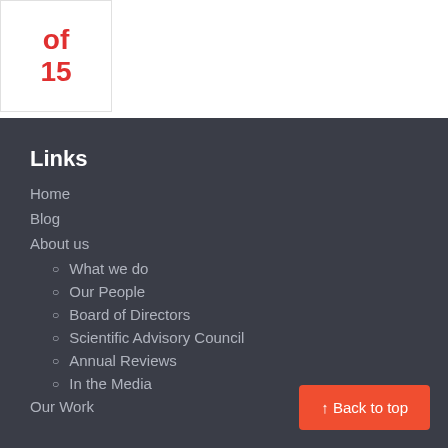of 15
Links
Home
Blog
About us
What we do
Our People
Board of Directors
Scientific Advisory Council
Annual Reviews
In the Media
Our Work
↑ Back to top